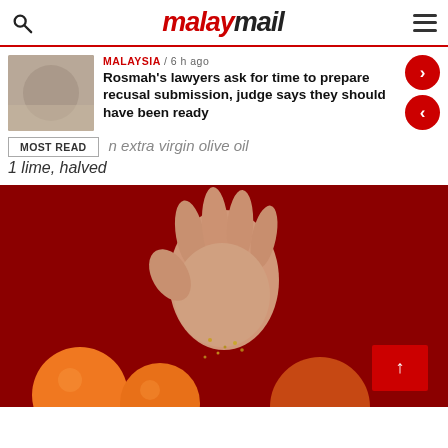malaymail
Rosmah's lawyers ask for time to prepare recusal submission, judge says they should have been ready
MALAYSIA / 6 h ago
MOST READ
n extra virgin olive oil
1 lime, halved
[Figure (photo): A hand sprinkling seeds or spices against a red background with oranges visible at the bottom]